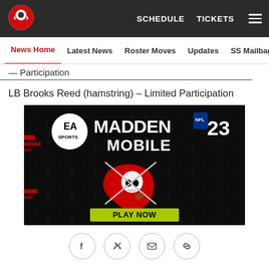Tampa Bay Buccaneers website header with logo, SCHEDULE, TICKETS navigation links and hamburger menu
News Home | Latest News | Roster Moves | Updates | SS Mailbag
— Participation
LB Brooks Reed (hamstring) – Limited Participation
[Figure (photo): EA Sports Madden NFL 23 Mobile advertisement featuring Tampa Bay Buccaneers logo on dark grid background with PLAY NOW button]
[Figure (infographic): Social share icons: Facebook, Twitter, Email, Link]